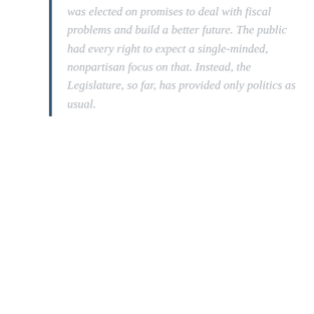was elected on promises to deal with fiscal problems and build a better future. The public had every right to expect a single-minded, nonpartisan focus on that. Instead, the Legislature, so far, has provided only politics as usual.